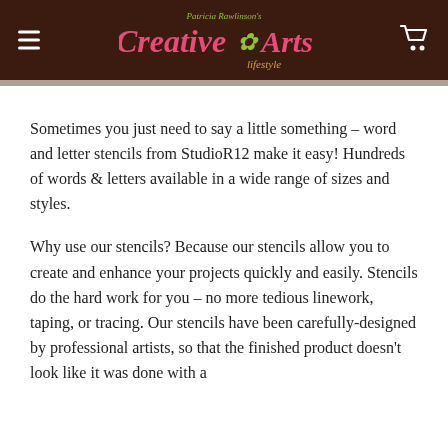Patricia Rawlinson's Creative Arts Lifestyle [logo header with hamburger menu and cart icon]
Sometimes you just need to say a little something – word and letter stencils from StudioR12 make it easy! Hundreds of words & letters available in a wide range of sizes and styles.
Why use our stencils? Because our stencils allow you to create and enhance your projects quickly and easily. Stencils do the hard work for you – no more tedious linework, taping, or tracing. Our stencils have been carefully-designed by professional artists, so that the finished product doesn't look like it was done with a stencil – but looks like…